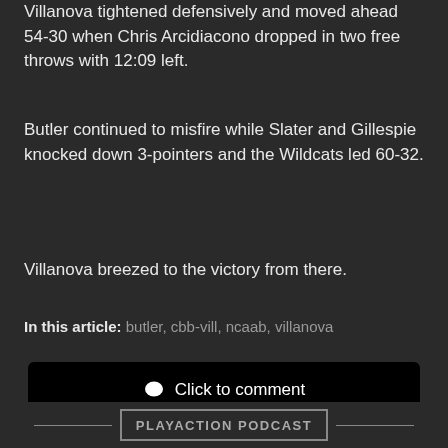Villanova tightened defensively and moved ahead 54-30 when Chris Arcidiacono dropped in two free throws with 12:09 left.
Butler continued to misfire while Slater and Gillespie knocked down 3-pointers and the Wildcats led 60-32.
Villanova breezed to the victory from there.
In this article: butler, cbb-vill, ncaab, villanova
Click to comment
PLAYACTION PODCAST